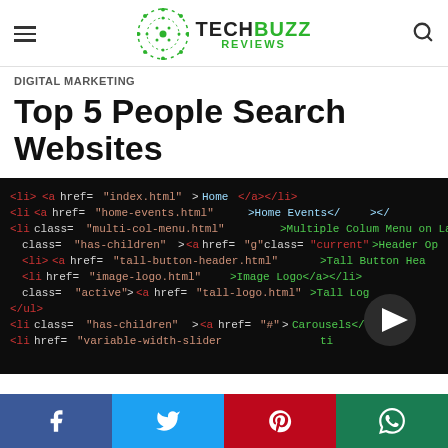TECH BUZZ REVIEWS
DIGITAL MARKETING
Top 5 People Search Websites
[Figure (photo): Dark background screenshot of HTML/CSS navigation menu source code with green, red, white, and yellow colored syntax highlighting, showing anchor tags, list items, hrefs and class names like 'has-children', 'multi-col-menu', 'image-logo', 'tall-button-header', 'variable-width-slider'. A play/video button triangle icon is visible in the lower right.]